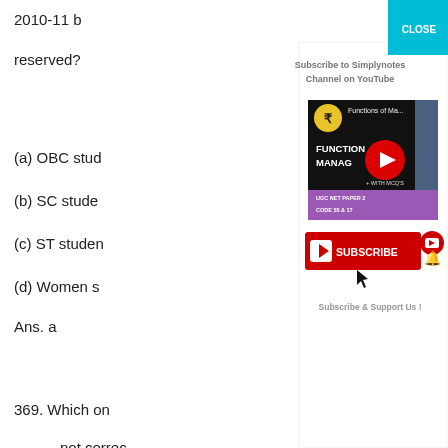2010-11 b...
reserved?
(a) OBC stud...
(b) SC stude...
(c) ST studen...
(d) Women s...
Ans. a
369. Which one... not correc... Commissi...
(a) It was est...
Parliament...
[Figure (screenshot): YouTube subscribe modal overlay with video thumbnail for 'Functions of Ma...' (UGC NET Paper 2, Code 55 & 17), a red Subscribe button with bell icon, and 'Subscribe & Support Us!' text. Header says 'Subscribe to Simplynotes Channel on YouTube' with a teal CLOSE button.]